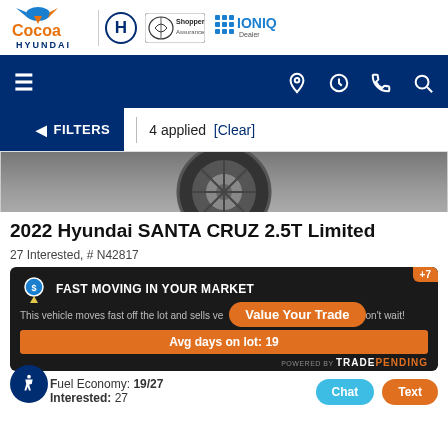[Figure (logo): Cocoa Hyundai dealership header with Cocoa Hyundai logo, Hyundai logo, Shopper Assurance badge, and IONIQ Dealer badge]
[Figure (screenshot): Dark blue navigation bar with hamburger menu on left and location, clock, phone, search icons on right]
FILTERS | 4 applied [Clear]
[Figure (photo): Partial car image showing wheel/tire from above on dark background]
2022 Hyundai SANTA CRUZ 2.5T Limited
27 Interested, # N42817
[Figure (infographic): Fast Moving in Your Market banner with location pin icon, text about vehicle moving fast off lot, Value Your Trade overlay button, Avg days on lot: 19, +7 badge, Powered by TRADEPENDING]
Fuel Economy: 19/27
Interested: 27